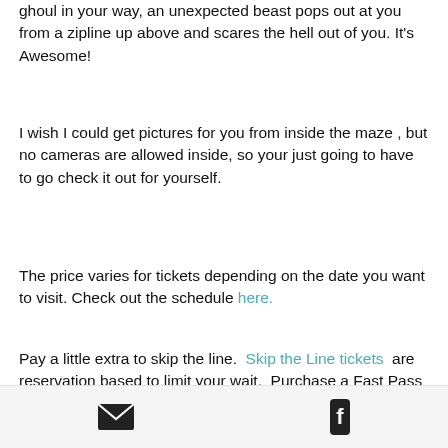ghoul in your way,  an unexpected beast pops out at you from a zipline up above and scares the hell out of you.  It's Awesome!
I wish I could get pictures for you from inside the maze , but no cameras are allowed inside,  so your just going to have to go check it out for yourself.
The price varies for tickets depending on the date you want to visit.  Check out the schedule here.
Pay a little extra to skip the line.  Skip the Line tickets  are reservation based to limit your wait.  Purchase a Fast Pass ticket and reserve your entry time within a one-hour time block.   A limited amount of each are
[email icon] [facebook icon]